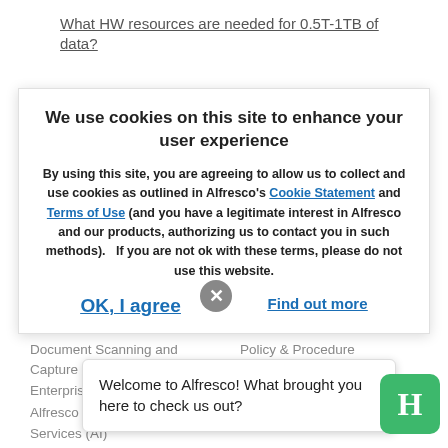What HW resources are needed for 0.5T-1TB of data?
We use cookies on this site to enhance your user experience
By using this site, you are agreeing to allow us to collect and use cookies as outlined in Alfresco's Cookie Statement and Terms of Use (and you have a legitimate interest in Alfresco and our products, authorizing us to contact you in such methods).   If you are not ok with these terms, please do not use this website.
OK, I agree
Find out more
Document Scanning and Capture
Policy & Procedure
Case Management
Enterprise Collaboration
Alfresco Intelli...
Services (AI)
Business Intelli...
Analytics, and Insights
Welcome to Alfresco! What brought you here to check us out?